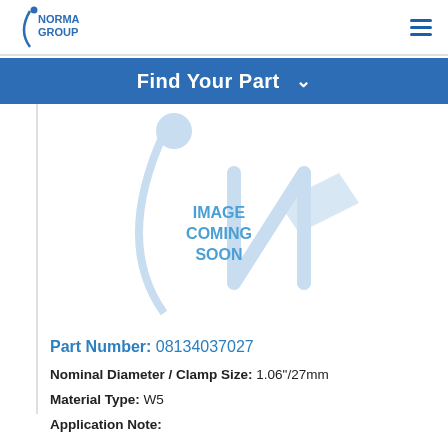NORMA GROUP [logo] [hamburger menu]
Find Your Part
[Figure (illustration): Placeholder image with light blue Norma Group logo watermark and text 'IMAGE COMING SOON']
Part Number: 08134037027
Nominal Diameter / Clamp Size: 1.06"/27mm
Material Type: W5
Application Note: